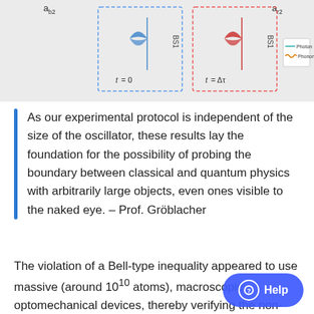[Figure (schematic): Diagram showing two beam splitter (BS1) setups. Left: blue butterfly/hourglass shape at t=0. Right: red butterfly/hourglass shape at t=Δτ. Legend shows Photon (teal line) and Phonon (orange wavy line). Label a_b2 on far left, a_r2 on far right.]
As our experimental protocol is independent of the size of the oscillator, these results lay the foundation for the possibility of probing the boundary between classical and quantum physics with arbitrarily large objects, even ones visible to the naked eye. – Prof. Gröblacher
The violation of a Bell-type inequality appeared to use massive (around 10¹⁰ atoms), macroscopic optomechanical devices, thereby verifying the non-classicality of their without the need for a quantum description of